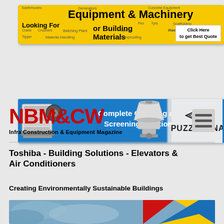[Figure (infographic): Yellow banner advertisement for Equipment & Machinery and Building Materials with text 'Looking For Equipment & Machinery or Building Materials' and various category keywords like Earthmovers, Crane, Crushers, Tipper, Batching Plant, Material Handling, Scaffolding, Waterproofing, Spares, Formwork. Click Here to get Best Quote button on right.]
[Figure (infographic): Blue Puzzolana advertisement banner showing 'Complete Crushing and Screening Solutions' with crusher machine images on left and center, and Puzzolana brand logo on white section on right.]
[Figure (logo): NBM&CW Infra Construction & Equipment Magazine logo in red bold text with hamburger menu icon on right]
Toshiba - Building Solutions - Elevators & Air Conditioners
Creating Environmentally Sustainable Buildings
[Figure (photo): Partial bottom image showing sky with red, yellow and blue geometric shapes/triangles, appearing to be a building or architectural photo with colorful design elements]